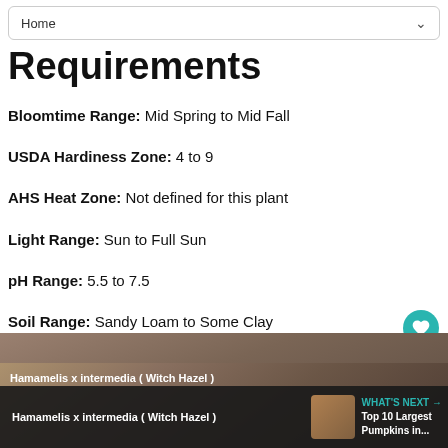Home
Requirements
Bloomtime Range: Mid Spring to Mid Fall
USDA Hardiness Zone: 4 to 9
AHS Heat Zone: Not defined for this plant
Light Range: Sun to Full Sun
pH Range: 5.5 to 7.5
Soil Range: Sandy Loam to Some Clay
Water Range: Normal to Moist
[Figure (photo): Bottom photo strip of Hamamelis x intermedia (Witch Hazel) plant]
Hamamelis x intermedia ( Witch Hazel )
WHAT'S NEXT → Top 10 Largest Pumpkins in...